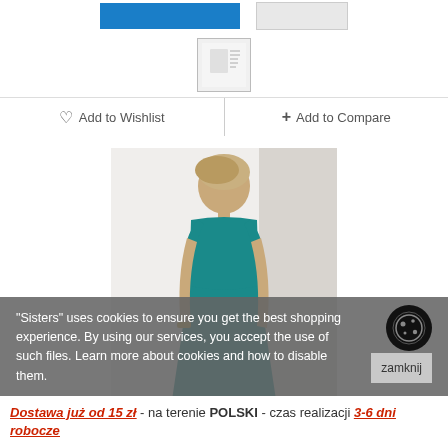[Figure (screenshot): Blue button (add to cart) and grey button side by side at top]
[Figure (screenshot): Small thumbnail/swatch image of a garment]
Add to Wishlist  +  Add to Compare
[Figure (photo): Woman in teal sleeveless dress standing against a white background]
"Sisters" uses cookies to ensure you get the best shopping experience. By using our services, you accept the use of such files. Learn more about cookies and how to disable them.
Dostawa już od 15 zł - na terenie POLSKI - czas realizacji 3-6 dni robocze